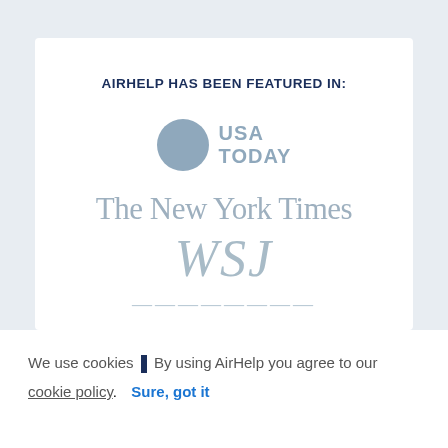AIRHELP HAS BEEN FEATURED IN:
[Figure (logo): USA Today logo: blue circle with 'USA TODAY' text in blue]
[Figure (logo): The New York Times logo in serif font, muted blue-grey color]
[Figure (logo): WSJ (Wall Street Journal) logo in large italic serif font, muted blue-grey]
[Figure (logo): Partially visible logo at the bottom of the card]
We use cookies | By using AirHelp you agree to our
cookie policy.  Sure, got it